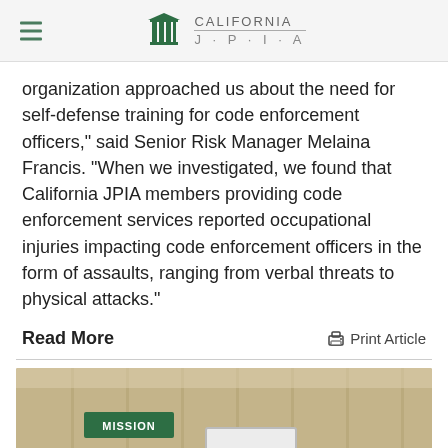California JPIA
organization approached us about the need for self-defense training for code enforcement officers,” said Senior Risk Manager Melaina Francis. “When we investigated, we found that California JPIA members providing code enforcement services reported occupational injuries impacting code enforcement officers in the form of assaults, ranging from verbal threats to physical attacks.”
Read More
Print Article
[Figure (photo): Group photo of five people standing in a room with wood-paneled walls. A green ‘MISSION’ sign is visible on the wall. A whiteboard is in the background. People appear to be at a training session.]